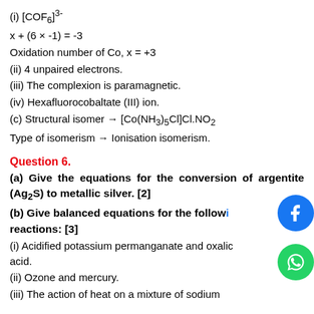(i) [COF6]^3-
x + (6 × -1) = -3
Oxidation number of Co, x = +3
(ii) 4 unpaired electrons.
(iii) The complexion is paramagnetic.
(iv) Hexafluorocobaltate (III) ion.
(c) Structural isomer → [Co(NH3)5Cl]Cl.NO2
Type of isomerism → Ionisation isomerism.
Question 6.
(a) Give the equations for the conversion of argentite (Ag2S) to metallic silver. [2]
(b) Give balanced equations for the following reactions: [3]
(i) Acidified potassium permanganate and oxalic acid.
(ii) Ozone and mercury.
(iii) The action of heat on a mixture of sodium chloride and manganese to obtain chlorine acid.